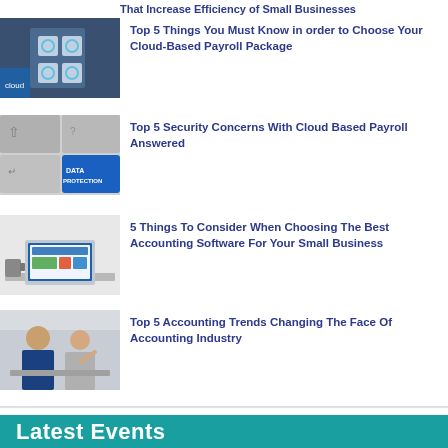That Increase Efficiency of Small Businesses
Top 5 Things You Must Know in order to Choose Your Cloud-Based Payroll Package
Top 5 Security Concerns With Cloud Based Payroll Answered
5 Things To Consider When Choosing The Best Accounting Software For Your Small Business
Top 5 Accounting Trends Changing The Face Of Accounting Industry
Latest Events